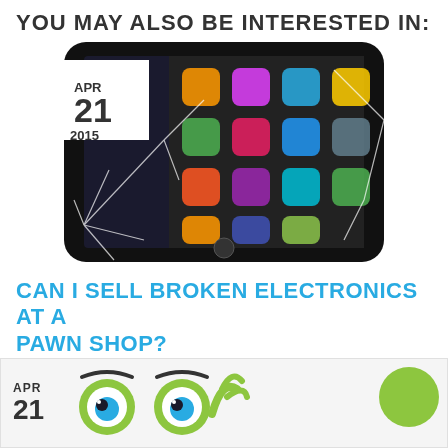YOU MAY ALSO BE INTERESTED IN:
[Figure (photo): Cracked/broken smartphone with shattered screen displaying app icons, with a date badge overlay showing APR 21 2015]
CAN I SELL BROKEN ELECTRONICS AT A PAWN SHOP?
At Hollywood Pawn Shop & Jewelry, we pay top dollar for broken electronics. Our electronics specialists will inspect the item you have for sale, check the current market values and make you an awesome offer.
[Figure (illustration): Cartoon green monster eyes with a hand, partial card with date APR 21, and a green circle graphic element]